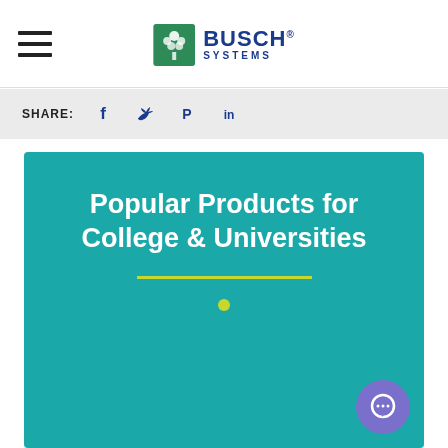Busch Systems
SHARE:
Popular Products for College & Universities